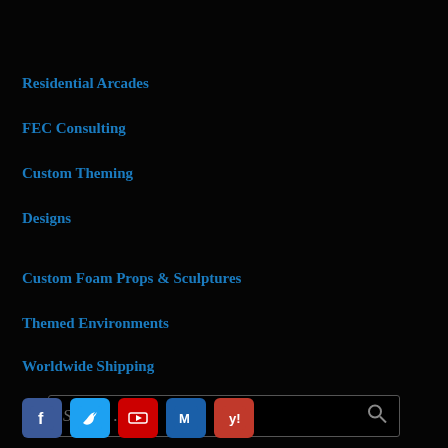Residential Arcades
FEC Consulting
Custom Theming
Designs
Custom Foam Props & Sculptures
Themed Environments
Worldwide Shipping
Search …
[Figure (other): Social media icons row: Facebook, Twitter, YouTube, Mail, Yelp]